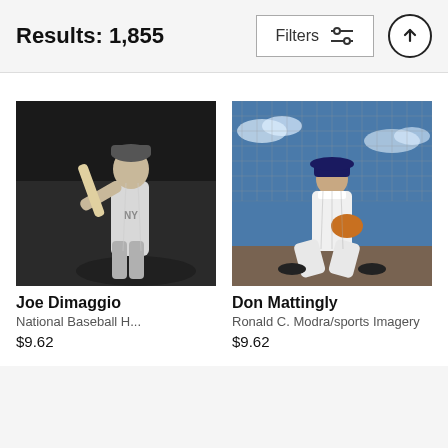Results: 1,855
[Figure (screenshot): Filters button with sliders icon]
[Figure (photo): Black and white photo of Joe DiMaggio in New York Yankees uniform, holding a baseball bat in batting stance]
Joe Dimaggio
National Baseball H...
$9.62
[Figure (photo): Color photo of Don Mattingly in Yankees uniform, sitting near a chain link fence on a baseball field holding a glove]
Don Mattingly
Ronald C. Modra/sports Imagery
$9.62